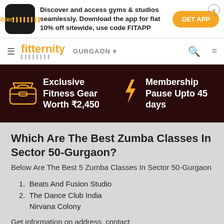[Figure (screenshot): Fitter app advertisement banner with logo, text about discovering gyms and studios, GET APP button, and close button]
[Figure (screenshot): Fitternity website navigation bar with hamburger menu, Fitternity logo, GURGAON city selector, search icon, and filter icon]
[Figure (infographic): Dark promo banner with gym bag icon, Exclusive Fitness Gear Worth ₹2,450, lightning bolt, and Membership Pause Upto 45 days]
Which Are The Best Zumba Classes In Sector 50-Gurgaon?
Below Are The Best 5 Zumba Classes In Sector 50-Gurgaon
1. Beats And Fusion Studio
2. The Dance Club India Nirvana Colony
Get information on address, contact